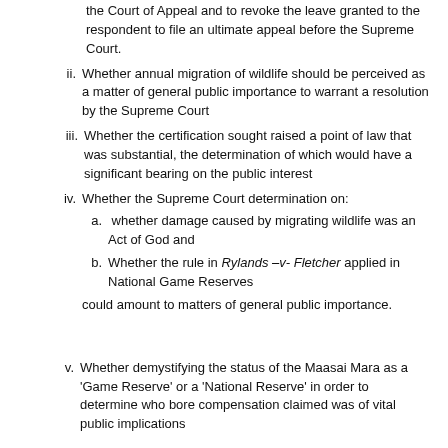the Court of Appeal and to revoke the leave granted to the respondent to file an ultimate appeal before the Supreme Court.
ii. Whether annual migration of wildlife should be perceived as a matter of general public importance to warrant a resolution by the Supreme Court
iii. Whether the certification sought raised a point of law that was substantial, the determination of which would have a significant bearing on the public interest
iv. Whether the Supreme Court determination on:
a. whether damage caused by migrating wildlife was an Act of God and
b. Whether the rule in Rylands –v- Fletcher applied in National Game Reserves
could amount to matters of general public importance.
v. Whether demystifying the status of the Maasai Mara as a 'Game Reserve' or a 'National Reserve' in order to determine who bore compensation claimed was of vital public implications
Civil Practice and Procedure- jurisdiction–appellate jurisdiction of the Supreme Court-jurisdiction of the Supreme Court to determine Appeals certified by the Court of Appeal circumstances in which the supreme